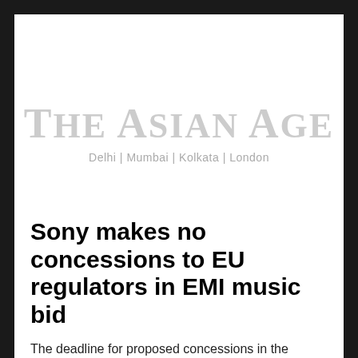THE ASIAN AGE
Delhi | Mumbai | Kolkata | London
Sony makes no concessions to EU regulators in EMI music bid
The deadline for proposed concessions in the European Commission's preliminary assessment of the deal was Oct. 19.